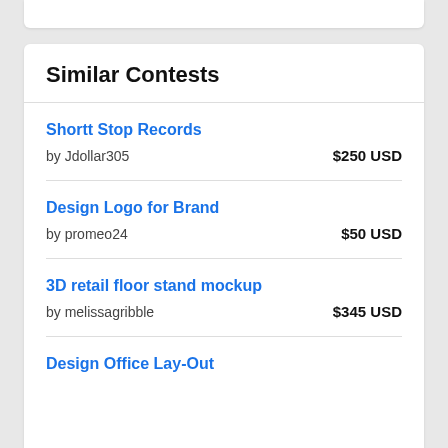Similar Contests
Shortt Stop Records | by Jdollar305 | $250 USD
Design Logo for Brand | by promeo24 | $50 USD
3D retail floor stand mockup | by melissagribble | $345 USD
Design Office Lay-Out | by ... | $... USD